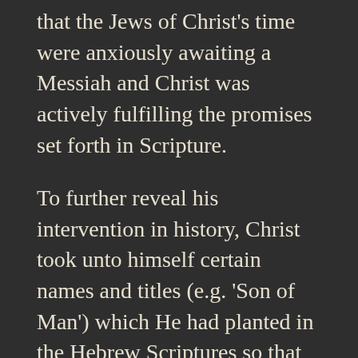that the Jews of Christ's time were anxiously awaiting a Messiah and Christ was actively fulfilling the promises set forth in Scripture.
To further reveal his intervention in history, Christ took unto himself certain names and titles (e.g. 'Son of Man') which He had planted in the Hebrew Scriptures so that He might connect Old Testament concepts and teachings with his earthly ministry.5 Frank Herbert's missionaria protectiva would have been impressed. (You'll get this reference if you've read Dune).
Before he ascended, Christ explicitly outlined to His disciples the things in the Scriptures that pertained to him. According to Saint Luke